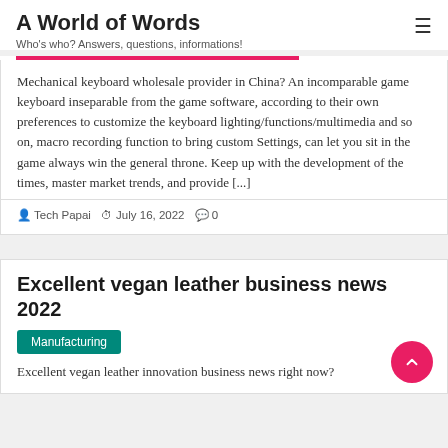A World of Words
Who's who? Answers, questions, informations!
Mechanical keyboard wholesale provider in China? An incomparable game keyboard inseparable from the game software, according to their own preferences to customize the keyboard lighting/functions/multimedia and so on, macro recording function to bring custom Settings, can let you sit in the game always win the general throne. Keep up with the development of the times, master market trends, and provide [...]
Tech Papai   July 16, 2022   0
Excellent vegan leather business news 2022
Manufacturing
Excellent vegan leather innovation business news right now?